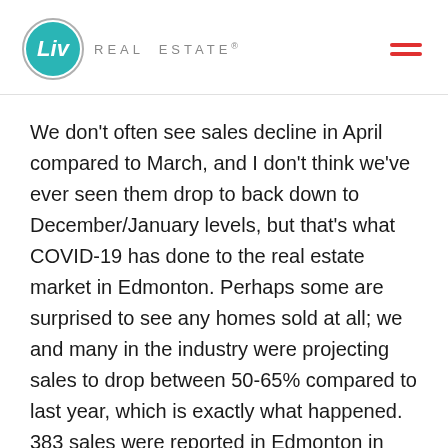Liv Real Estate
We don't often see sales decline in April compared to March, and I don't think we've ever seen them drop to back down to December/January levels, but that's what COVID-19 has done to the real estate market in Edmonton. Perhaps some are surprised to see any homes sold at all; we and many in the industry were projecting sales to drop between 50-65% compared to last year, which is exactly what happened. 383 sales were reported in Edmonton in April, down 50% from last April. If